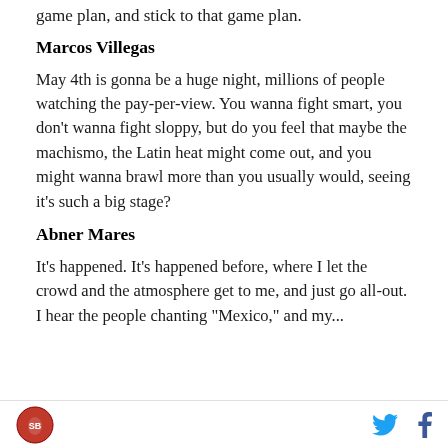game plan, and stick to that game plan.
Marcos Villegas
May 4th is gonna be a huge night, millions of people watching the pay-per-view. You wanna fight smart, you don't wanna fight sloppy, but do you feel that maybe the machismo, the Latin heat might come out, and you might wanna brawl more than you usually would, seeing it's such a big stage?
Abner Mares
It's happened. It's happened before, where I let the crowd and the atmosphere get to me, and just go all-out. I hear the people chanting "Mexico," and my...